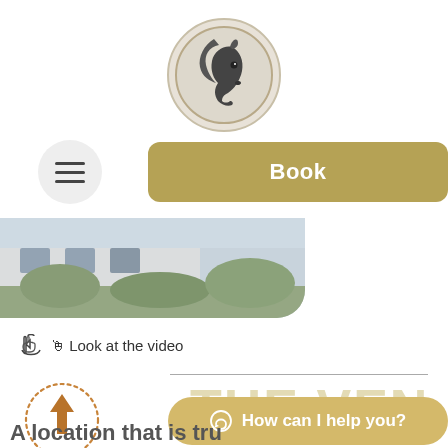[Figure (logo): Circular logo with horse head illustration, beige/cream background with decorative border]
[Figure (illustration): Hamburger menu icon - three horizontal lines in a light gray circle]
Book
[Figure (photo): Partial outdoor photo strip showing building exterior with greenery, rounded bottom-right corner]
Look at the video
[Figure (illustration): Upload/scroll-to-top arrow icon inside a dotted circle border]
THE VEN
How can I help you?
A location that is tru